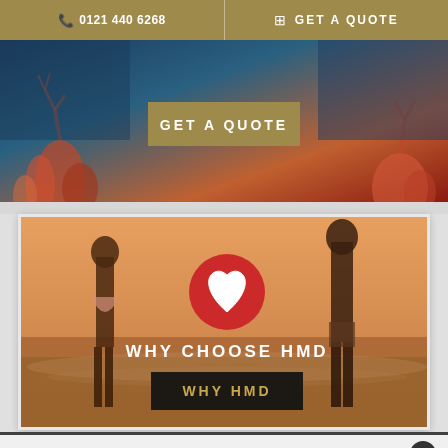0121 440 6268   GET A QUOTE
[Figure (screenshot): GET A QUOTE button over coral reef underwater background image]
[Figure (photo): Couple walking on beach at sunset with heart icon overlay, WHY CHOOSE HMD text, and WHY HMD button]
Coronavirus Advice